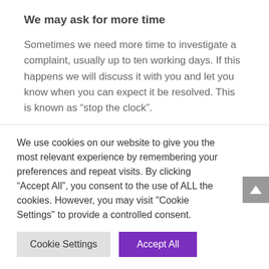We may ask for more time
Sometimes we need more time to investigate a complaint, usually up to ten working days. If this happens we will discuss it with you and let you know when you can expect it be resolved. This is known as “stop the clock”.
Petitions
We use cookies on our website to give you the most relevant experience by remembering your preferences and repeat visits. By clicking “Accept All”, you consent to the use of ALL the cookies. However, you may visit "Cookie Settings" to provide a controlled consent.